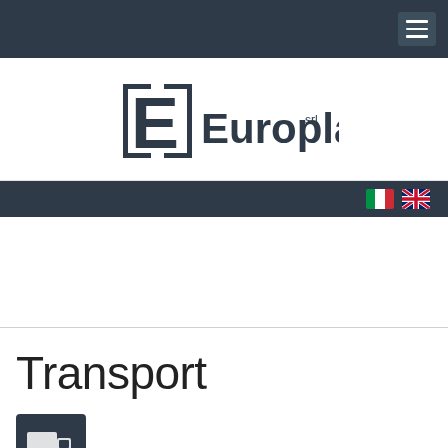Navigation bar with hamburger menu
[Figure (logo): Europlast srl company logo with stylized E letter in dark teal/navy color]
Language selector bar with Italian and UK flags
Transport
[Figure (illustration): Transport icon showing a truck/vehicle in a dark square icon box]